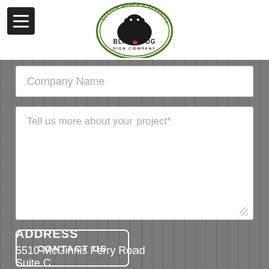[Figure (logo): Black Dog Sign Company logo — circular badge with 'Custom Wraps & Graphics' text around top, black dog silhouette in center, 'BLACK DOG SIGN COMPANY' text below]
Company Name
Tell us more about your project*
CONTACT US
ADDRESS
5510 McGinnis Ferry Road
Suite C